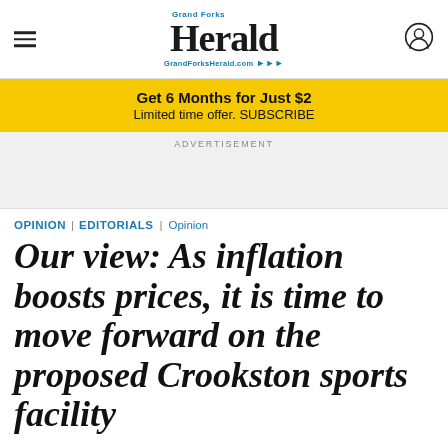Grand Forks Herald — GrandForksHerald.com
[Figure (infographic): Yellow promotional banner with text: Get 6 Months for Just $2. Limited time offer. SUBSCRIBE.]
ADVERTISEMENT
OPINION | EDITORIALS | Opinion
Our view: As inflation boosts prices, it is time to move forward on the proposed Crookston sports facility
In Crookston, the multi-sport facility is proposed to be built on school property, officially ending the district's